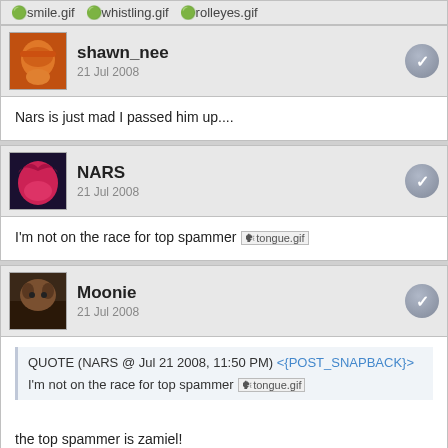smile.gif  whistling.gif  rolleyes.gif
shawn_nee
21 Jul 2008
Nars is just mad I passed him up....
NARS
21 Jul 2008
I'm not on the race for top spammer tongue.gif
Moonie
21 Jul 2008
QUOTE (NARS @ Jul 21 2008, 11:50 PM) <{POST_SNAPBACK}>
I'm not on the race for top spammer tongue.gif

the top spammer is zamiel!

oooops i say nothing smile.gif whistling.gif